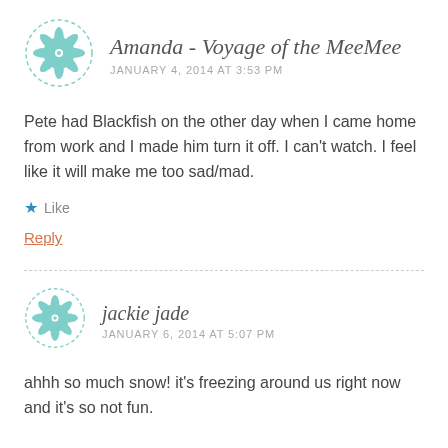[Figure (illustration): Circular avatar with teal geometric mandala pattern on white background, dashed border circle]
Amanda - Voyage of the MeeMee
JANUARY 4, 2014 AT 3:53 PM
Pete had Blackfish on the other day when I came home from work and I made him turn it off. I can't watch. I feel like it will make me too sad/mad.
Like
Reply
[Figure (illustration): Circular avatar with teal geometric mandala pattern on white background, dashed border circle]
jackie jade
JANUARY 6, 2014 AT 5:07 PM
ahhh so much snow! it's freezing around us right now and it's so not fun.